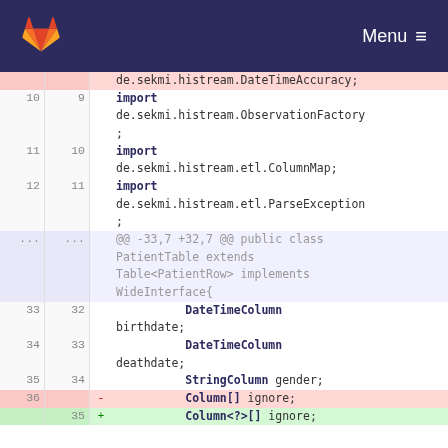GitLab — Menu
| old | new | sign | code |
| --- | --- | --- | --- |
|  |  |  | de.sekmi.histream.DateTimeAccuracy; |
| 10 | 9 |  | import de.sekmi.histream.ObservationFactory; |
| 11 | 10 |  | import de.sekmi.histream.etl.ColumnMap; |
| 12 | 11 |  | import de.sekmi.histream.etl.ParseException; |
| ... | ... |  | @@ -33,7 +32,7 @@ public class PatientTable extends Table<PatientRow> implements WideInterface{ |
| 33 | 32 |  | DateTimeColumn birthdate; |
| 34 | 33 |  | DateTimeColumn deathdate; |
| 35 | 34 |  | StringColumn gender; |
| 36 |  | - | Column[] ignore; |
|  | 35 | + | Column<?>[] ignore; |